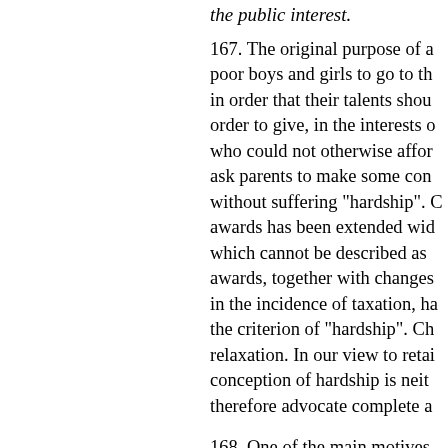the public interest.
167. The original purpose of a... poor boys and girls to go to th... in order that their talents shou... order to give, in the interests c... who could not otherwise affor... ask parents to make some con... without suffering "hardship". C... awards has been extended wid... which cannot be described as ... awards, together with changes... in the incidence of taxation, ha... the criterion of "hardship". Ch... relaxation. In our view to retai... conception of hardship is neit... therefore advocate complete a...
168. One of the main motives... the fear that talent would be lo... demonstrated to the communit... proper supply of highly qualif... and applied sciences, and it is... fiercely competitive world co... equal importance in time of pe... committed, with the active su...